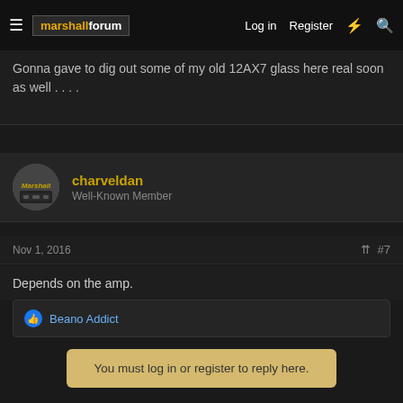marshallforum — Log in  Register
Gonna gave to dig out some of my old 12AX7 glass here real soon as well . . . .
charveldan
Well-Known Member
Nov 1, 2016  #7
Depends on the amp.
Beano Addict
You must log in or register to reply here.